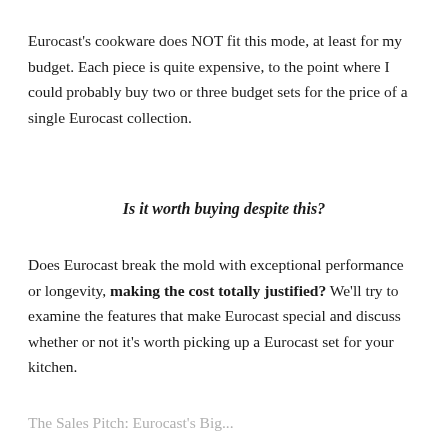Eurocast's cookware does NOT fit this mode, at least for my budget. Each piece is quite expensive, to the point where I could probably buy two or three budget sets for the price of a single Eurocast collection.
Is it worth buying despite this?
Does Eurocast break the mold with exceptional performance or longevity, making the cost totally justified? We'll try to examine the features that make Eurocast special and discuss whether or not it's worth picking up a Eurocast set for your kitchen.
The Sales Pitch: Eurocast's Big...